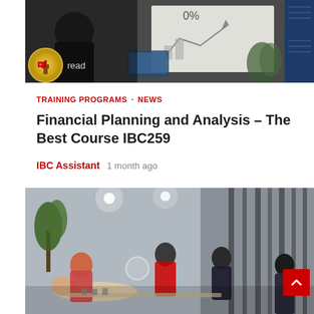[Figure (photo): A person presenting at a whiteboard with financial/business diagrams and a laptop visible. A circular logo badge overlay and 'read' text visible in the lower left of the image.]
TRAINING PROGRAMS · NEWS
Financial Planning and Analysis – The Best Course IBC259
IBC Assistant  1 month ago
[Figure (photo): A group of people in a room, appearing to be in a hands-on training session. One person is lying down receiving treatment while others work around them. A red scroll-to-top button is visible in the bottom right.]